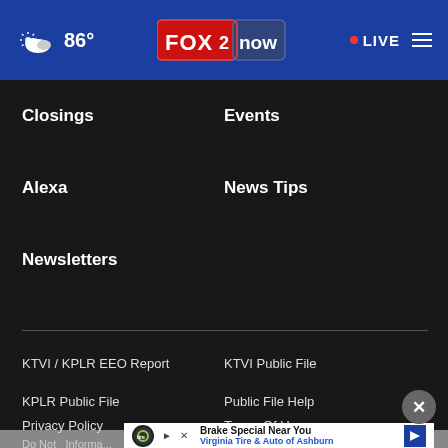[Figure (screenshot): FOX2now website header with weather icon showing 86°, FOX 2 now logo in center, LIVE button and hamburger menu on right, on blue background]
Closings
Events
Alexa
News Tips
Newsletters
KTVI / KPLR EEO Report
KTVI Public File
KPLR Public File
Public File Help
Privacy Policy
Terms Of Use
Do Not... Informa...
[Figure (infographic): Advertisement: Brake Special Near You - Virginia Tire & Auto of Ashburn, with play and close buttons]